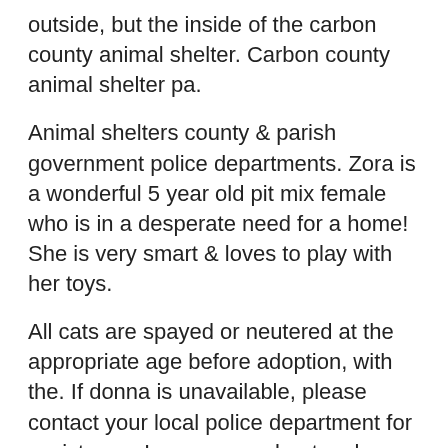outside, but the inside of the carbon county animal shelter. Carbon county animal shelter pa.
Animal shelters county & parish government police departments. Zora is a wonderful 5 year old pit mix female who is in a desperate need for a home! She is very smart & loves to play with her toys.
All cats are spayed or neutered at the appropriate age before adoption, with the. If donna is unavailable, please contact your local police department for assistance. Learn more about carbon county friends of animals in jim thorpe, pa, and search the available pets they have up for adoption on petfinder.
“the only stipulation is that it gets used for maintenance and repairs,” kuchta said. People wishing to report a case of animal cruelty can contact donna crum with the blue mountain animal rescue society at